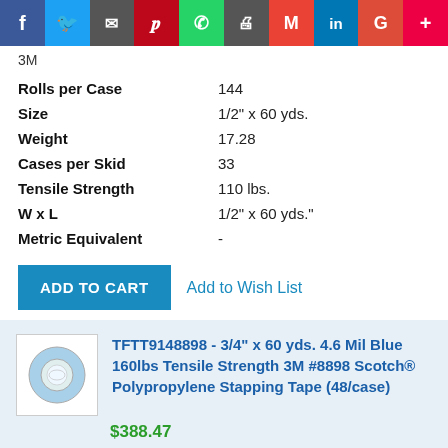[Figure (other): Social media share bar with icons: Facebook, Twitter, Email, Pinterest, WhatsApp, Print, Gmail, LinkedIn, Google, Plus]
3M
| Rolls per Case | 144 |
| Size | 1/2" x 60 yds. |
| Weight | 17.28 |
| Cases per Skid | 33 |
| Tensile Strength | 110 lbs. |
| W x L | 1/2" x 60 yds." |
| Metric Equivalent | - |
ADD TO CART   Add to Wish List
[Figure (photo): Blue tape roll product image (small thumbnail)]
TFTT9148898 - 3/4" x 60 yds. 4.6 Mil Blue 160lbs Tensile Strength 3M #8898 Scotch® Polypropylene Stapping Tape (48/case)
$388.47